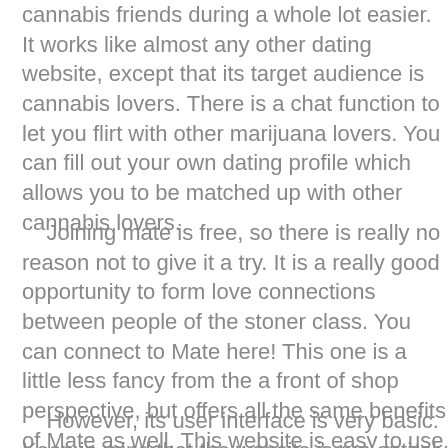cannabis friends during a whole lot easier. It works like almost any other dating website, except that its target audience is cannabis lovers. There is a chat function to let you flirt with other marijuana lovers. You can fill out your own dating profile which allows you to be matched up with other cannabis lovers.
Joining mate is free, so there is really no reason not to give it a try. It is a really good opportunity to form love connections between people of the stoner class. You can connect to Mate here! This one is a little less fancy from the a front of shop perspective, but offers all the same benefits of Mate as well. This website is easy to use and not overly complicated. It still has a lot of the same functions such as email, chat, forums and profile browsing, and is not overloaded with ads.
However, its user interface is very basic. Keep in mind that the website is run entirely by one person. Check out